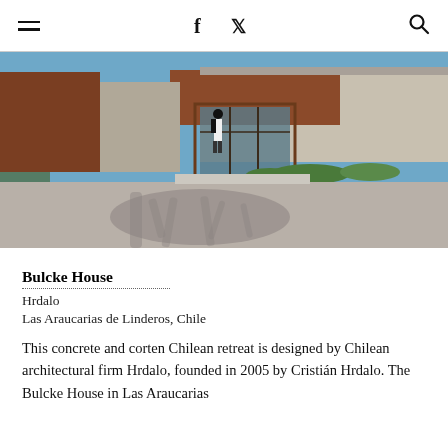≡  f  🐦  🔍
[Figure (photo): Exterior photograph of Bulcke House showing concrete and corten steel facade with blue sky, a person standing at the entrance, and tree shadow on foreground pavement.]
Bulcke House
Hrdalo
Las Araucarias de Linderos, Chile
This concrete and corten Chilean retreat is designed by Chilean architectural firm Hrdalo, founded in 2005 by Cristián Hrdalo. The Bulcke House in Las Araucarias de Linderos is one of the...